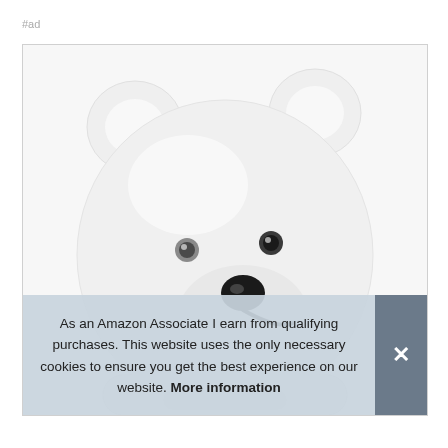#ad
[Figure (photo): A white bear-shaped silicone product/toy with round ears, small grey and black eyes, a black nose, and a curved smile, photographed against a white background inside a light-bordered box.]
As an Amazon Associate I earn from qualifying purchases. This website uses the only necessary cookies to ensure you get the best experience on our website. More information